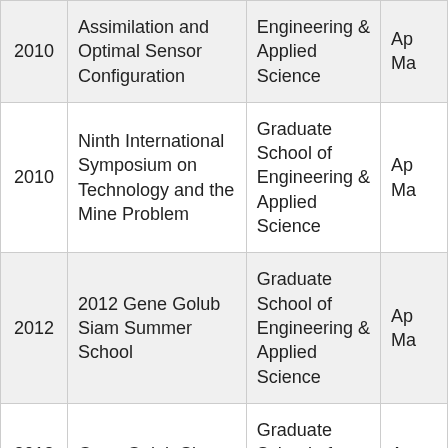| Year | Event | Department | Type |
| --- | --- | --- | --- |
| 2010 | Assimilation and Optimal Sensor Configuration | Graduate School of Engineering & Applied Science | Ap Ma |
| 2010 | Ninth International Symposium on Technology and the Mine Problem | Graduate School of Engineering & Applied Science | Ap Ma |
| 2012 | 2012 Gene Golub Siam Summer School | Graduate School of Engineering & Applied Science | Ap Ma |
| 2012 | Gene Golub Siam … | Graduate School of Engineering … | Ap |